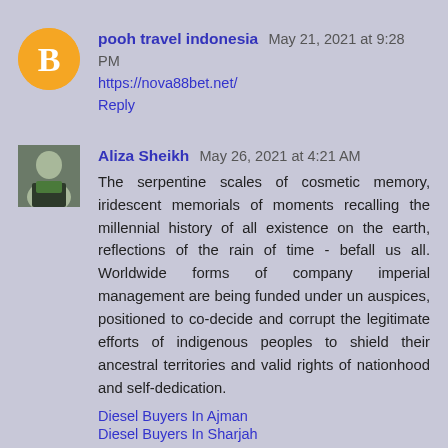pooh travel indonesia May 21, 2021 at 9:28 PM
https://nova88bet.net/
Reply
Aliza Sheikh May 26, 2021 at 4:21 AM
The serpentine scales of cosmetic memory, iridescent memorials of moments recalling the millennial history of all existence on the earth, reflections of the rain of time - befall us all. Worldwide forms of company imperial management are being funded under un auspices, positioned to co-decide and corrupt the legitimate efforts of indigenous peoples to shield their ancestral territories and valid rights of nationhood and self-dedication.
Diesel Buyers In Ajman
Diesel Buyers In Sharjah
Reply